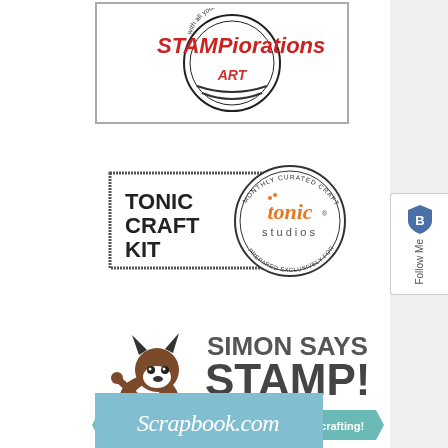[Figure (logo): STAMPiorations logo - red text 'STAMPiorations' with circular stamp 'with all your ART', inside a rectangular border]
[Figure (logo): Tonic Craft Kit logo - rectangular stamp with 'TONIC CRAFT KIT' text, overlapping circle with 'tonic studios' in orange, 'MONTHLY CURATED CRAFT PROJECTS' and 'PREPARED EXCLUSIVELY FOR YOU' around the border]
[Figure (logo): Simon Says Stamp logo - Boston Terrier dog illustration with 'SIMON SAYS STAMP!' in large grey text, teal banner with 'ONE STOP SHOP for stamping & papercrafting!']
[Figure (logo): Scrapbook.com logo - cursive white text 'Scrapbook.com' on blue/teal watercolor background]